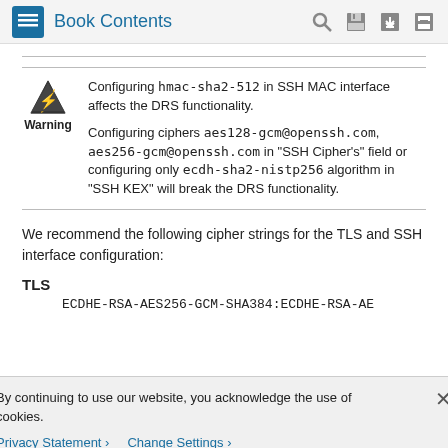Book Contents
Configuring hmac-sha2-512 in SSH MAC interface affects the DRS functionality.

Configuring ciphers aes128-gcm@openssh.com, aes256-gcm@openssh.com in "SSH Cipher's" field or configuring only ecdh-sha2-nistp256 algorithm in "SSH KEX" will break the DRS functionality.
We recommend the following cipher strings for the TLS and SSH interface configuration:
TLS
ECDHE-RSA-AES256-GCM-SHA384:ECDHE-RSA-AE…
By continuing to use our website, you acknowledge the use of cookies.
Privacy Statement › Change Settings ›